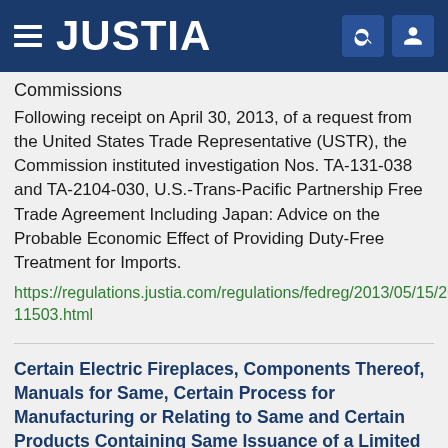JUSTIA
Commissions
Following receipt on April 30, 2013, of a request from the United States Trade Representative (USTR), the Commission instituted investigation Nos. TA-131-038 and TA-2104-030, U.S.-Trans-Pacific Partnership Free Trade Agreement Including Japan: Advice on the Probable Economic Effect of Providing Duty-Free Treatment for Imports.
https://regulations.justia.com/regulations/fedreg/2013/05/15/2013-11503.html
Certain Electric Fireplaces, Components Thereof, Manuals for Same, Certain Process for Manufacturing or Relating to Same and Certain Products Containing Same Issuance of a Limited Exclusion Order; Termination of Investigation